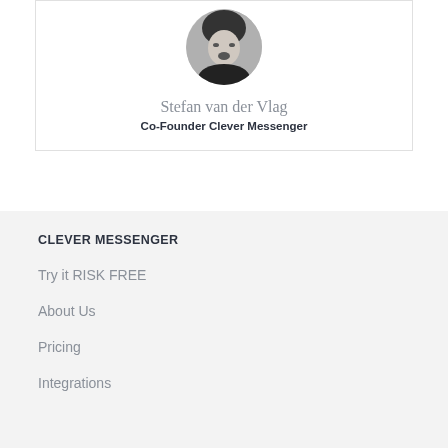[Figure (photo): Circular black and white portrait photo of Stefan van der Vlag]
Stefan van der Vlag
Co-Founder Clever Messenger
CLEVER MESSENGER
Try it RISK FREE
About Us
Pricing
Integrations